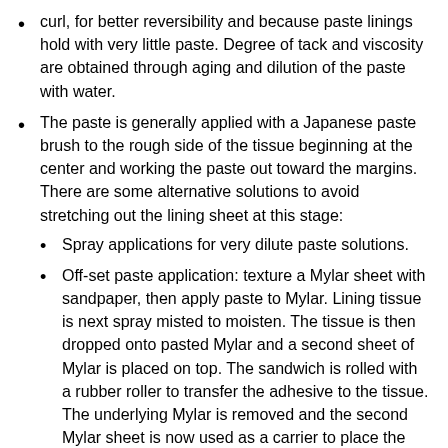curl, for better reversibility and because paste linings hold with very little paste. Degree of tack and viscosity are obtained through aging and dilution of the paste with water.
The paste is generally applied with a Japanese paste brush to the rough side of the tissue beginning at the center and working the paste out toward the margins. There are some alternative solutions to avoid stretching out the lining sheet at this stage:
Spray applications for very dilute paste solutions.
Off-set paste application: texture a Mylar sheet with sandpaper, then apply paste to Mylar. Lining tissue is next spray misted to moisten. The tissue is then dropped onto pasted Mylar and a second sheet of Mylar is placed on top. The sandwich is rolled with a rubber roller to transfer the adhesive to the tissue. The underlying Mylar is removed and the second Mylar sheet is now used as a carrier to place the tissue on the object's verso. To further prevent “pull” on lining tissue, avoid smoothing brush and use vacuum suction table to achieve contact application of paste, rather